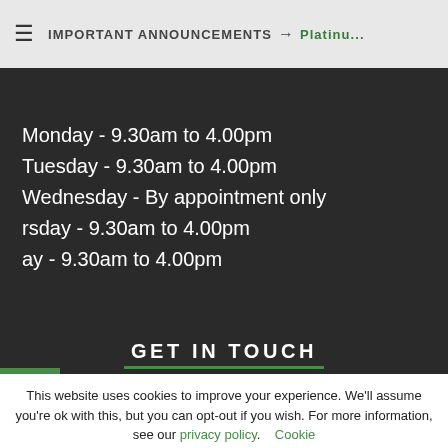IMPORTANT ANNOUNCEMENTS → Platinu...
Monday - 9.30am to 4.00pm
Tuesday - 9.30am to 4.00pm
Wednesday - By appointment only
Thursday - 9.30am to 4.00pm
Friday - 9.30am to 4.00pm
GET IN TOUCH
This website uses cookies to improve your experience. We'll assume you're ok with this, but you can opt-out if you wish. For more information, see our privacy policy. Cookie settings ACCEPT